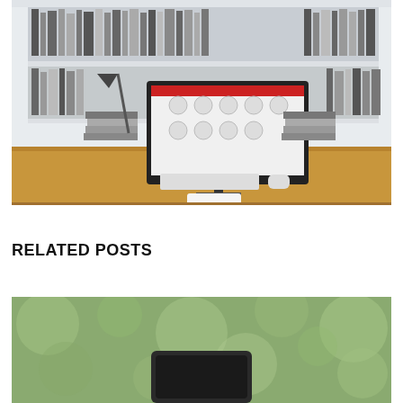[Figure (photo): Home office desk with computer monitor showing a red-themed UI dashboard, surrounded by stacks of books on shelves in the background. Wooden desk with keyboard, mouse, and a lamp.]
RELATED POSTS
[Figure (photo): Outdoor blurred background with green bokeh, showing the top portion of a dark device or object, likely a laptop or tablet.]